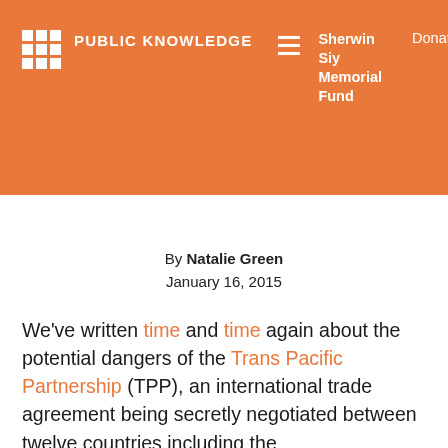PUBLIC KNOWLEDGE | Sherwin Siy Memorial Fund | Donate
By Natalie Green
January 16, 2015
We've written time and time again about the potential dangers of the Trans Pacific Partnership (TPP), an international trade agreement being secretly negotiated between twelve countries including the